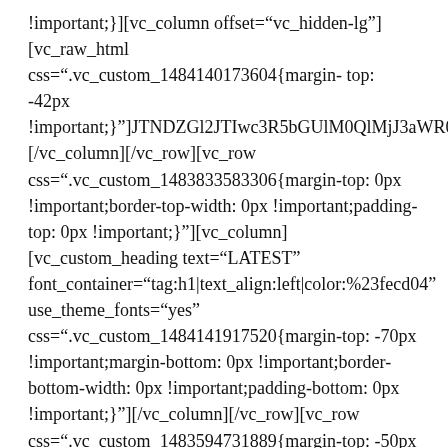!important;}][vc_column offset="vc_hidden-lg"] [vc_raw_html css=".vc_custom_1484140173604{margin-top: -42px !important;}"]JTNDZGl2JTIwc3R5bGUlM0QlMjJ3aWR0aC [/vc_column][/vc_row][vc_row css=".vc_custom_1483833583306{margin-top: 0px !important;border-top-width: 0px !important;padding-top: 0px !important;}"][vc_column][vc_custom_heading text="LATEST" font_container="tag:h1|text_align:left|color:%23fecd04" use_theme_fonts="yes" css=".vc_custom_1484141917520{margin-top: -70px !important;margin-bottom: 0px !important;border-bottom-width: 0px !important;padding-bottom: 0px !important;}"][/vc_column][/vc_row][vc_row css=".vc_custom_1483594731889{margin-top: -50px !important;}"][vc_column][vc_basic_grid post_type="post" max_items="6" gap="10" item="35945" initial_loading_animation="none"